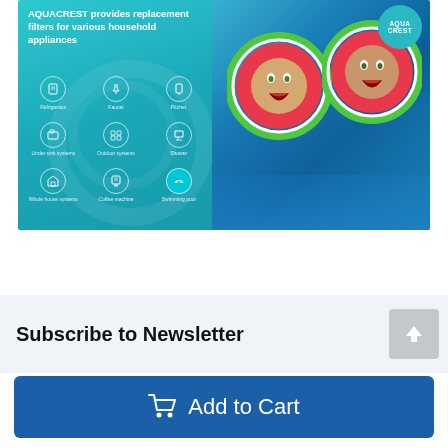[Figure (photo): AQUACREST product banner showing replacement filters for household appliances on left side with teal background and icons for Refrigerator, Faucet, Pitcher, Under sink systems, Outdoor systems, Shower, Whole house systems, Coffee machine, Swimming pool. Right side shows two children in a swimming pool holding watermelon float rings with the AQUACREST logo badge.]
Subscribe to Newsletter
[Figure (other): Scroll to top button with upward arrow]
Add to Cart